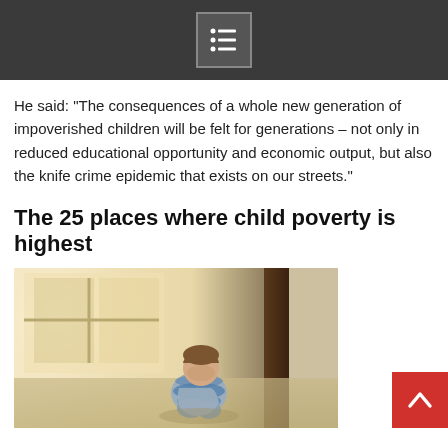He said: "The consequences of a whole new generation of impoverished children will be felt for generations – not only in reduced educational opportunity and economic output, but also the knife crime epidemic that exists on our streets."
The 25 places where child poverty is highest
[Figure (photo): A young child with head bowed, sitting curled up against a wall near a doorway, wearing a striped blue sweater. Indoor scene with soft warm light from a window in the background.]